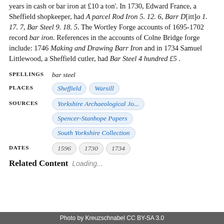years in cash or bar iron at £10 a ton'. In 1730, Edward France, a Sheffield shopkeeper, had A parcel Rod Iron 5. 12. 6, Barr D[itt]o 1. 17. 7, Bar Steel 9. 18. 5. The Wortley Forge accounts of 1695-1702 record bar iron. References in the accounts of Colne Bridge forge include: 1746 Making and Drawing Barr Iron and in 1734 Samuel Littlewood, a Sheffield cutler, had Bar Steel 4 hundred £5 .
SPELLINGS  bar steel
PLACES  Sheffield  Warsill
SOURCES  Yorkshire Archaeological Jo...  Spencer-Stanhope Papers  South Yorkshire Collection
DATES  1596  1730  1734
Related Content
Loading...
Photo by Kreuzschnabel CC BY-SA 3.0